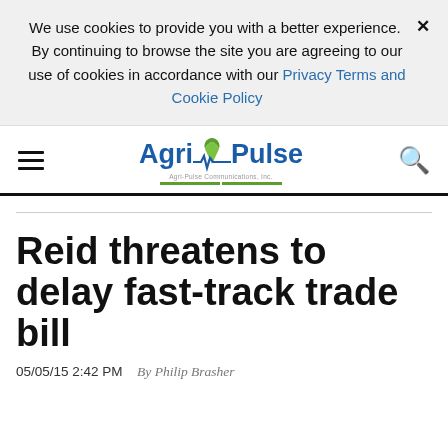We use cookies to provide you with a better experience. By continuing to browse the site you are agreeing to our use of cookies in accordance with our Privacy Terms and Cookie Policy
[Figure (logo): AgriPulse logo with green leaf and ECG pulse line, navigation hamburger menu and search icon]
Reid threatens to delay fast-track trade bill
05/05/15 2:42 PM  By Philip Brasher